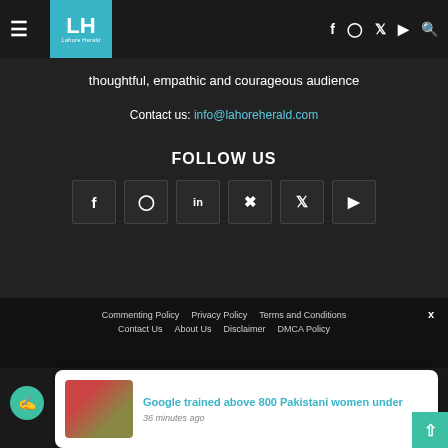LH Lahore Herald navigation bar with hamburger menu and social icons (Facebook, Instagram, Twitter, YouTube, Search)
thoughtful, empathic and courageous audience
Contact us: info@lahoreherald.com
FOLLOW US
[Figure (other): Row of 6 social media icon boxes: Facebook, Instagram, LinkedIn, Pinterest, Twitter, YouTube]
Commenting Policy  Privacy Policy  Terms and Conditions  Contact Us  About Us  Disclaimer  DMCA Policy
Google trained above 800 Pakistani women under
36 minutes ago